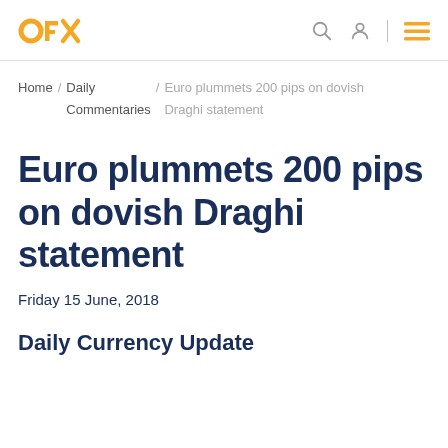OFX
Home / Daily Commentaries / Euro plummets 200 pips on dovish Draghi statement
Euro plummets 200 pips on dovish Draghi statement
Friday 15 June, 2018
Daily Currency Update